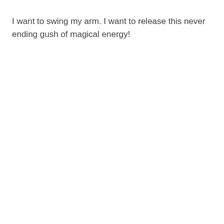I want to swing my arm. I want to release this never ending gush of magical energy!